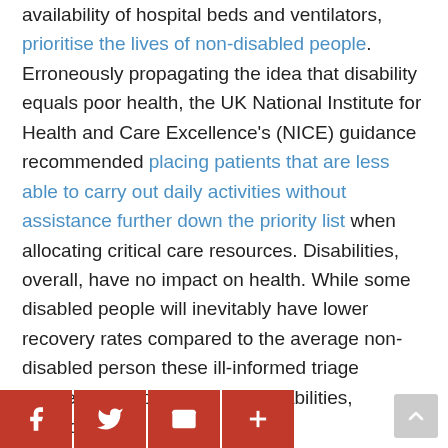availability of hospital beds and ventilators, prioritise the lives of non-disabled people. Erroneously propagating the idea that disability equals poor health, the UK National Institute for Health and Care Excellence's (NICE) guidance recommended placing patients that are less able to carry out daily activities without assistance further down the priority list when allocating critical care resources. Disabilities, overall, have no impact on health. While some disabled people will inevitably have lower recovery rates compared to the average non-disabled person these ill-informed triage policies also apply to a[those] disabilities, according to